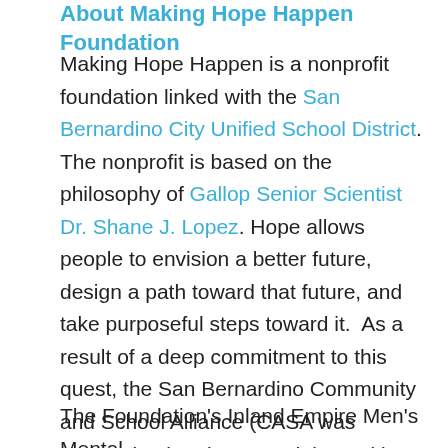About Making Hope Happen Foundation
Making Hope Happen is a nonprofit foundation linked with the San Bernardino City Unified School District. The nonprofit is based on the philosophy of Gallop Senior Scientist Dr. Shane J. Lopez. Hope allows people to envision a better future, design a path toward that future, and take purposeful steps toward it.  As a result of a deep commitment to this quest, the San Bernardino Community and School Alliance (CASA was reorganized and renamed the Making Hope Happen Foundation).
The Foundation's Inland Empire Men's Mental